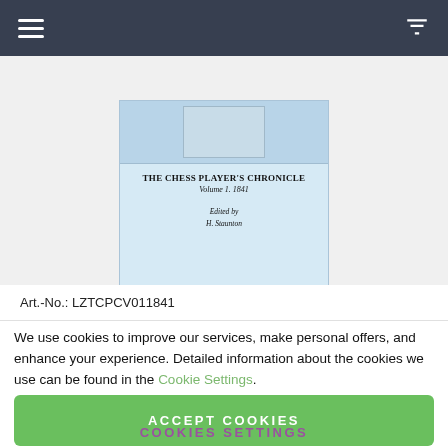Navigation bar with hamburger menu and filter icon
[Figure (photo): Book cover of 'The Chess Player's Chronicle, Volume 1, 1841, Edited by H. Staunton' shown on a light blue background]
Art.-No.: LZTCPCV011841
We use cookies to improve our services, make personal offers, and enhance your experience. Detailed information about the cookies we use can be found in the Cookie Settings.
ACCEPT COOKIES
COOKIES SETTINGS